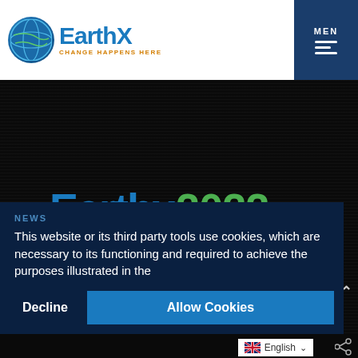EarthX — CHANGE HAPPENS HERE | MEN (menu)
Earthx2022
TV
IMPACT
MEMBERSHIP
DONATION
NEWS
This website or its third party tools use cookies, which are necessary to its functioning and required to achieve the purposes illustrated in the
Decline   Allow Cookies
English